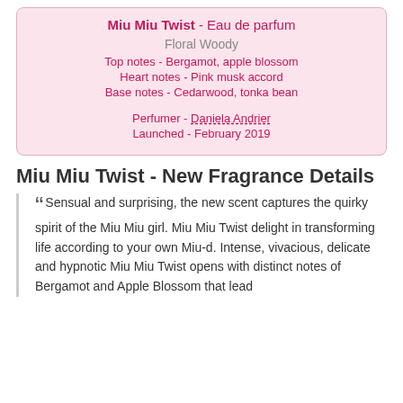Miu Miu Twist - Eau de parfum
Floral Woody
Top notes - Bergamot, apple blossom
Heart notes - Pink musk accord
Base notes - Cedarwood, tonka bean
Perfumer - Daniela Andrier
Launched - February 2019
Miu Miu Twist - New Fragrance Details
Sensual and surprising, the new scent captures the quirky spirit of the Miu Miu girl. Miu Miu Twist delight in transforming life according to your own Miu-d. Intense, vivacious, delicate and hypnotic Miu Miu Twist opens with distinct notes of Bergamot and Apple Blossom that lead